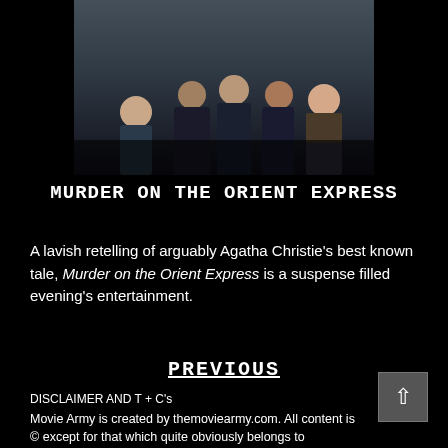[Figure (photo): Movie still from Murder on the Orient Express showing several cast members in period costume, dark tones, grouped together]
MURDER ON THE ORIENT EXPRESS
A lavish retelling of arguably Agatha Christie's best known tale, Murder on the Orient Express is a suspense filled evening's entertainment.
PREVIOUS
DISCLAIMER AND T + C's
Movie Army is created by themoviearmy.com. All content is © except for that which quite obviously belongs to